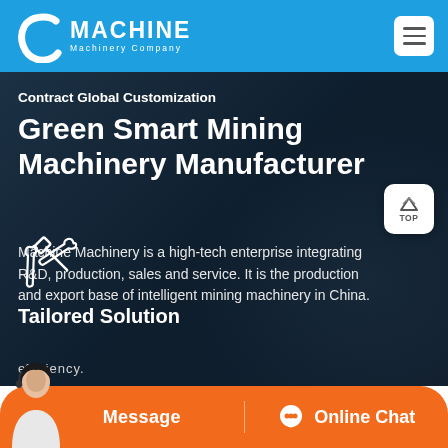[Figure (logo): C Machine Machinery Company logo - white C icon with MACHINE text in white on blue header bar]
Contract Global Customization
Green Smart Mining Machinery Manufacturer
Machine Machinery is a high-tech enterprise integrating R&D, production, sales and service. It is the production and export base of intelligent mining machinery in China.
[Figure (illustration): White crossed wrench and hammer tools icon]
Tailored Solution
Message
Online Chat